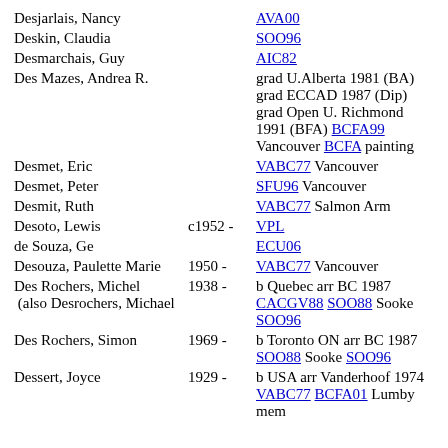Desjarlais, Nancy | AVA00
Deskin, Claudia | SOO96
Desmarchais, Guy | AIC82
Des Mazes, Andrea R. | grad U.Alberta 1981 (BA) grad ECCAD 1987 (Dip) grad Open U. Richmond 1991 (BFA) BCFA99 Vancouver BCFA painting
Desmet, Eric | VABC77 Vancouver
Desmet, Peter | SFU96 Vancouver
Desmit, Ruth | VABC77 Salmon Arm
Desoto, Lewis | c1952 - | VPL
de Souza, Ge | ECU06
Desouza, Paulette Marie | 1950 - | VABC77 Vancouver
Des Rochers, Michel (also Desrochers, Michael) | 1938 - | b Quebec arr BC 1987 CACGV88 SOO88 Sooke SOO96
Des Rochers, Simon | 1969 - | b Toronto ON arr BC 1987 SOO88 Sooke SOO96
Dessert, Joyce | 1929 - | b USA arr Vanderhoof 1974 VABC77 BCFA01 Lumby mem